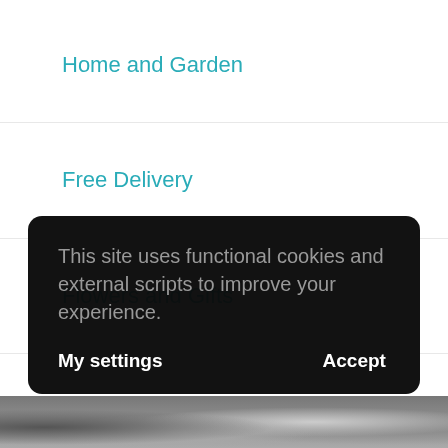Home and Garden
Free Delivery
Flowers and Gifts
Health and Beauty
Electronics and Appliances
This site uses functional cookies and external scripts to improve your experience.
My settings    Accept